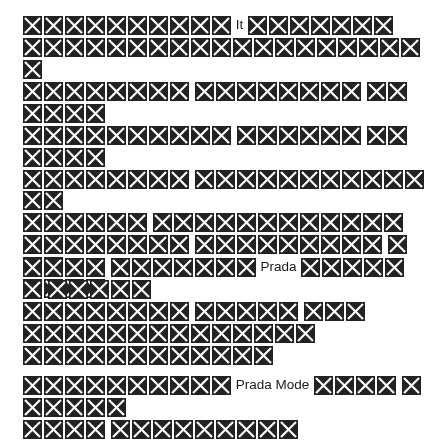[redacted] It [redacted] [redacted lines] [redacted]
[redacted] Prada [redacted lines] [redacted]
[redacted] Prada Mode [redacted lines] [redacted]